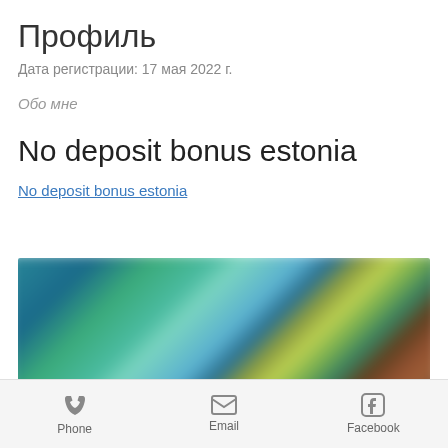Профиль
Дата регистрации: 17 мая 2022 г.
Обо мне
No deposit bonus estonia
No deposit bonus estonia
[Figure (photo): Blurred screenshot of a casino or gaming website showing colorful character images on a dark background]
Phone  Email  Facebook